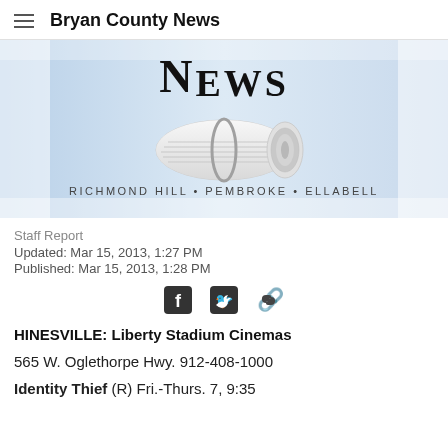Bryan County News
[Figure (illustration): Bryan County News newspaper banner with rolled newspaper graphic and text 'NEWS' above 'RICHMOND HILL • PEMBROKE • ELLABELL' on a blue-to-white gradient background]
Staff Report
Updated: Mar 15, 2013, 1:27 PM
Published: Mar 15, 2013, 1:28 PM
[Figure (infographic): Social share icons: Facebook, Twitter, link/chain]
HINESVILLE: Liberty Stadium Cinemas
565 W. Oglethorpe Hwy. 912-408-1000
Identity Thief (R) Fri.-Thurs. 7, 9:35